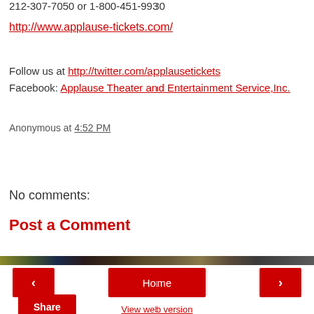212-307-7050 or 1-800-451-9930
http://www.applause-tickets.com/
Follow us at http://twitter.com/applausetickets
Facebook: Applause Theater and Entertainment Service,Inc.
Anonymous at 4:52 PM
Share
No comments:
Post a Comment
< Home > View web version Powered by Blogger.